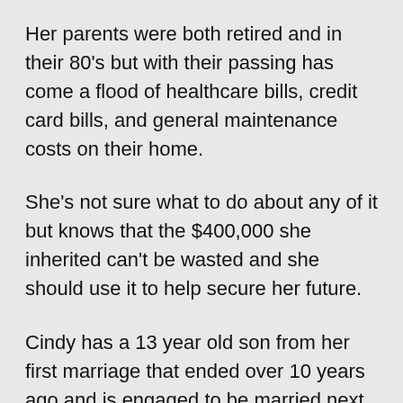Her parents were both retired and in their 80's but with their passing has come a flood of healthcare bills, credit card bills, and general maintenance costs on their home.
She's not sure what to do about any of it but knows that the $400,000 she inherited can't be wasted and she should use it to help secure her future.
Cindy has a 13 year old son from her first marriage that ended over 10 years ago and is engaged to be married next year so protecting her inheritance is also important to